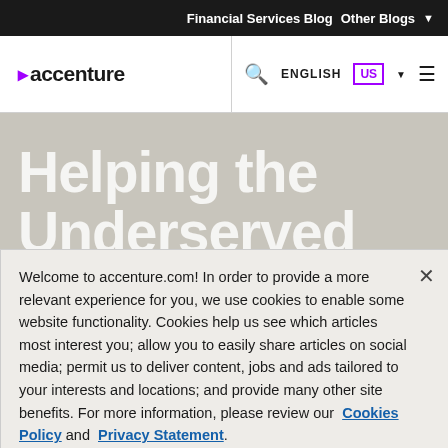Financial Services Blog   Other Blogs
[Figure (logo): Accenture logo with purple arrow and wordmark]
Helping the Underserved
Welcome to accenture.com! In order to provide a more relevant experience for you, we use cookies to enable some website functionality. Cookies help us see which articles most interest you; allow you to easily share articles on social media; permit us to deliver content, jobs and ads tailored to your interests and locations; and provide many other site benefits. For more information, please review our Cookies Policy and Privacy Statement.